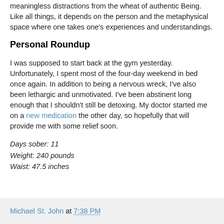meaningless distractions from the wheat of authentic Being. Like all things, it depends on the person and the metaphysical space where one takes one's experiences and understandings.
Personal Roundup
I was supposed to start back at the gym yesterday. Unfortunately, I spent most of the four-day weekend in bed once again. In addition to being a nervous wreck, I've also been lethargic and unmotivated. I've been abstinent long enough that I shouldn't still be detoxing. My doctor started me on a new medication the other day, so hopefully that will provide me with some relief soon.
Days sober: 11
Weight: 240 pounds
Waist: 47.5 inches
Michael St. John at 7:38 PM